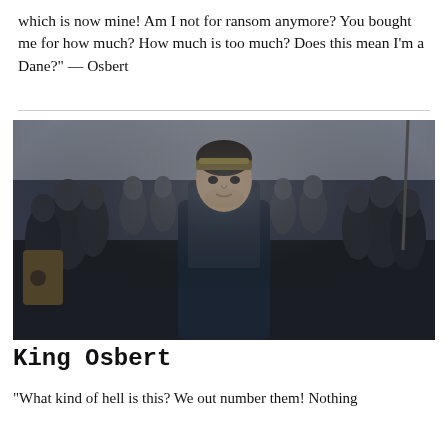which is now mine!  Am I not for ransom anymore?  You bought me for how much?  How much is too much?  Does this mean I'm a Dane?" — Osbert
[Figure (photo): A man wearing a decorative headband and chainmail in a medieval setting, surrounded by a crowd of soldiers and figures in winter clothing, appearing to be a still from a historical drama or film.]
King Osbert
"What kind of hell is this?  We out number them!  Nothing